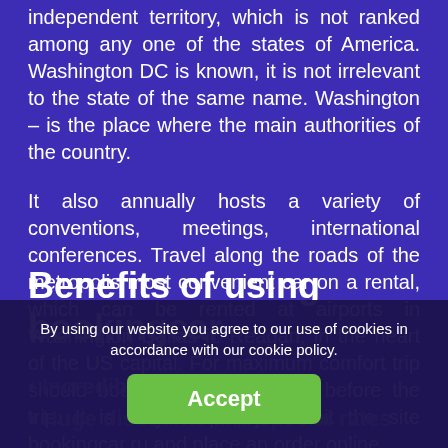independent territory, which is not ranked among any one of the states of America. Washington DC is known, it is not irrelevant to the state of the same name. Washington – is the place where the main authorities of the country.
It also annually hosts a variety of conventions, meetings, international conferences. Travel along the roads of the metropolis most convenient car on a rental, which can be rented at airports in Washington Dallas it. Reagan, in the heart of the US capital. For maximum comfort trip should book a car in advance before the trip. It is very simple, just visit the site bookingcar.ru and place an order online.
Benefits of using bookingcar
Incredibly low prices
Huge discounts and special rates
By using our website you agree to our use of cookies in accordance with our cookie policy.
Accept